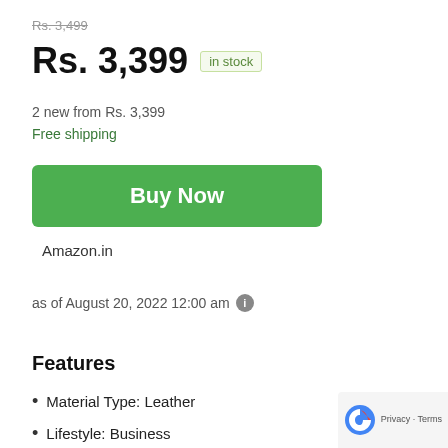Rs. 3,499
Rs. 3,399 in stock
2 new from Rs. 3,399
Free shipping
Buy Now
Amazon.in
as of August 20, 2022 12:00 am
Features
Material Type: Leather
Lifestyle: Business